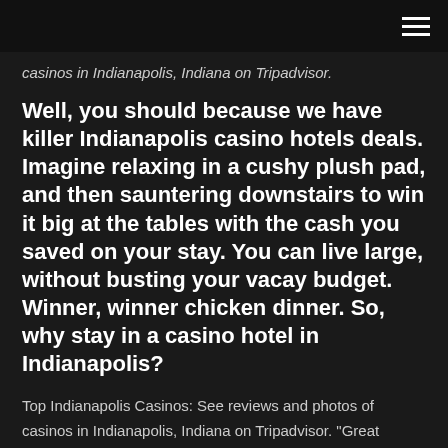[hamburger menu icon]
casinos in Indianapolis, Indiana on Tripadvisor.
Well, you should because we have killer Indianapolis casino hotels deals. Imagine relaxing in a cushy plush pad, and then sauntering downstairs to win it big at the tables with the cash you saved on your stay. You can live large, without busting your vacay budget. Winner, winner chicken dinner. So, why stay in a casino hotel in Indianapolis?
Top Indianapolis Casinos: See reviews and photos of casinos in Indianapolis, Indiana on Tripadvisor. "Great atmospheric venue such as casino and the venue for live event performances, lots of lots of casino slots and great